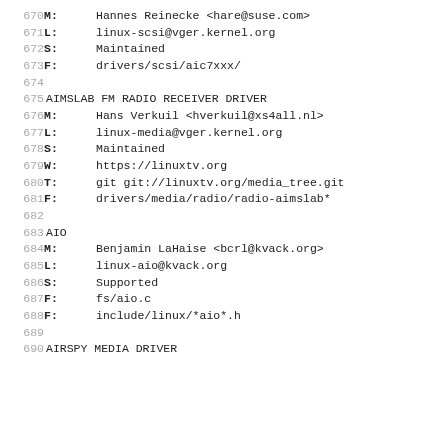670  M:  Hannes Reinecke <hare@suse.com>
671  L:  linux-scsi@vger.kernel.org
672  S:  Maintained
673  F:  drivers/scsi/aic7xxx/
674
675  AIMSLAB FM RADIO RECEIVER DRIVER
676  M:  Hans Verkuil <hverkuil@xs4all.nl>
677  L:  linux-media@vger.kernel.org
678  S:  Maintained
679  W:  https://linuxtv.org
680  T:  git git://linuxtv.org/media_tree.git
681  F:  drivers/media/radio/radio-aimslab*
682
683  AIO
684  M:  Benjamin LaHaise <bcrl@kvack.org>
685  L:  linux-aio@kvack.org
686  S:  Supported
687  F:  fs/aio.c
688  F:  include/linux/*aio*.h
689
690  AIRSPY MEDIA DRIVER